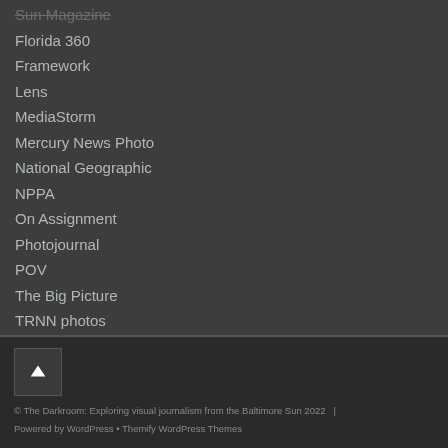Florida 360
Framework
Lens
MediaStorm
Mercury News Photo
National Geographic
NPPA
On Assignment
Photojournal
POV
The Big Picture
TRNN photos
VICE
VII
Washington Post
© The Darkroom: Exploring visual journalism from the Baltimore Sun 2022  |  Powered by WordPress • Themify WordPress Themes